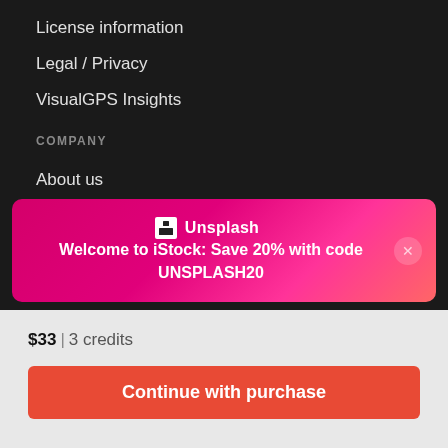License information
Legal / Privacy
VisualGPS Insights
COMPANY
About us
Newsroom
Investor
[Figure (infographic): Unsplash promotional banner on magenta/pink gradient background. Unsplash logo and text: 'Welcome to iStock: Save 20% with code UNSPLASH20'. Close button on right.]
$33 | 3 credits
Continue with purchase